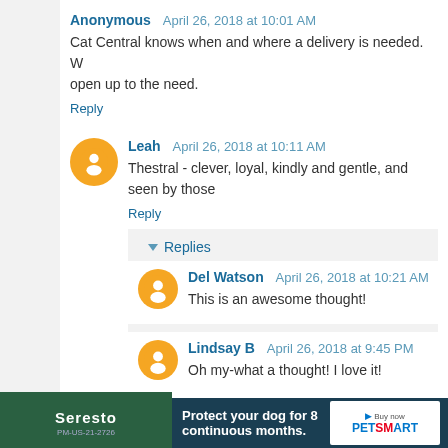Anonymous  April 26, 2018 at 10:01 AM
Cat Central knows when and where a delivery is needed. W... open up to the need.
Reply
Leah  April 26, 2018 at 10:11 AM
Thestral - clever, loyal, kindly and gentle, and seen by those...
Reply
Replies
Del Watson  April 26, 2018 at 10:21 AM
This is an awesome thought!
Lindsay B  April 26, 2018 at 9:45 PM
Oh my-what a thought! I love it!
Andrea  April 27, 2018 at 10:34 AM
[Figure (infographic): Advertisement banner for Seresto and PetSmart: 'Protect your dog for 8 continuous months. Buy now at PetSmart']